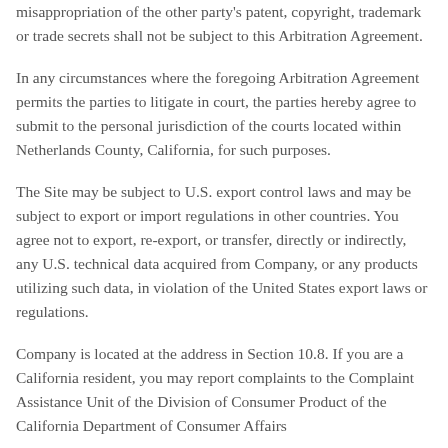misappropriation of the other party's patent, copyright, trademark or trade secrets shall not be subject to this Arbitration Agreement.
In any circumstances where the foregoing Arbitration Agreement permits the parties to litigate in court, the parties hereby agree to submit to the personal jurisdiction of the courts located within Netherlands County, California, for such purposes.
The Site may be subject to U.S. export control laws and may be subject to export or import regulations in other countries. You agree not to export, re-export, or transfer, directly or indirectly, any U.S. technical data acquired from Company, or any products utilizing such data, in violation of the United States export laws or regulations.
Company is located at the address in Section 10.8. If you are a California resident, you may report complaints to the Complaint Assistance Unit of the Division of Consumer Product of the California Department of Consumer Affairs